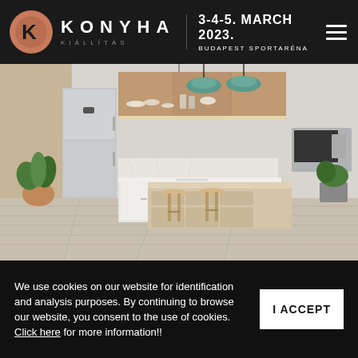KONYHA KIÁLLÍTÁS  3-4-5. MARCH 2023.  BUDAPEST SPORTARÉNA
[Figure (photo): Modern white kitchen interior with wood cabinet accents, open shelving with dishes, teal pendant lights, kitchen island with bar stools, refrigerator on left, plant in copper pot]
We use cookies on our website for identification and analysis purposes. By continuing to browse our website, you consent to the use of cookies. Click here for more information!!